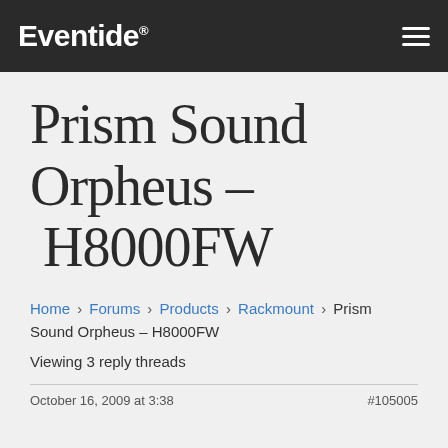Eventide
Prism Sound Orpheus – H8000FW
Home › Forums › Products › Rackmount › Prism Sound Orpheus – H8000FW
Viewing 3 reply threads
October 16, 2009 at 3:28 ... #105005